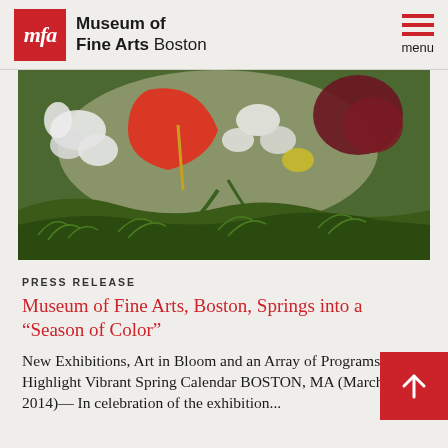Museum of Fine Arts Boston
[Figure (photo): Close-up photograph of colorful spring flowers including red anthuriums, white orchids, and green ferns arranged together]
PRESS RELEASE
Museum of Fine Arts, Boston, Springs into a “Season of Color”
New Exhibitions, Art in Bloom and an Array of Programs Highlight Vibrant Spring Calendar BOSTON, MA (March 20, 2014)—In celebration of the exhibition...